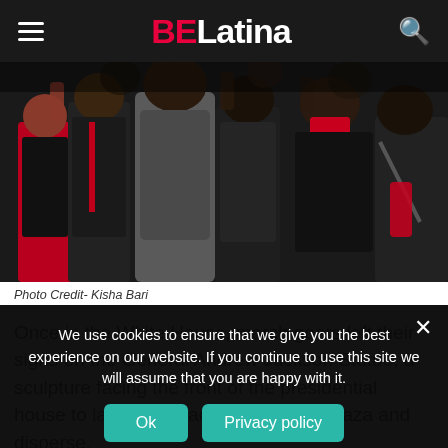BELatina
[Figure (photo): Crowd of protest march goers in dark winter clothing with red accents, some raising fists]
Photo Credit- Kisha Bari
Once in the White House, march goers left their signs on the General Andrew Jackson Statue, a sculpture facing the front of the presidential house to later walk back to Freedom Plaza and disperse.
We use cookies to ensure that we give you the best experience on our website. If you continue to use this site we will assume that you are happy with it.